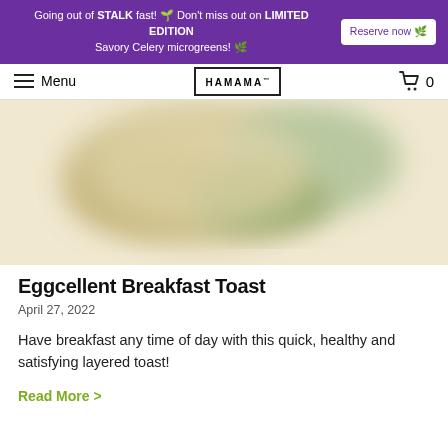Going out of STALK fast! 🌱 Don't miss out on LIMITED EDITION Savory Celery microgreens! 🌿 Reserve now 🌿
≡ Menu | HAMAMA™ | 🛒 0
[Figure (photo): Blurred overhead photo of a layered breakfast toast with eggs and microgreens on a light background]
Eggcellent Breakfast Toast
April 27, 2022
Have breakfast any time of day with this quick, healthy and satisfying layered toast!
Read More >